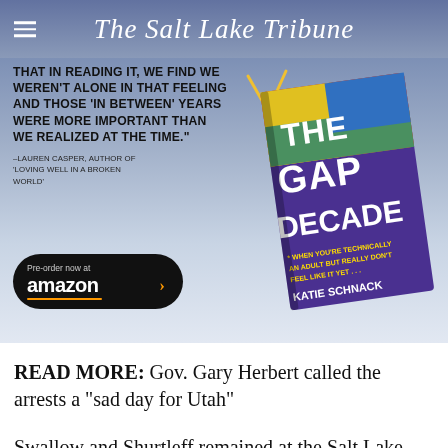The Salt Lake Tribune
[Figure (illustration): Book advertisement for 'The Gap Decade' by Katie Schnack. Quote: 'THAT IN READING IT, WE FIND WE WEREN'T ALONE IN THAT FEELING AND THOSE IN BETWEEN YEARS WERE MORE IMPORTANT THAN WE REALIZED AT THE TIME.' Attribution: Lauren Casper, author of 'Loving Well in a Broken World'. Pre-order now at amazon button. Book cover image on right with colorful design.]
READ MORE: Gov. Gary Herbert called the arrests a "sad day for Utah"
Swallow and Shurtleff remained at the Salt Lake County Jail for about three hours Tuesday as they